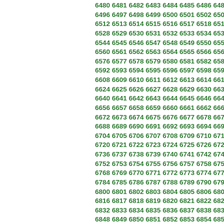Sequential numbers from 6480 to approximately 6858, displayed in rows of 13 numbers each, in green bold font, with numbers continuing beyond the right edge of the page.